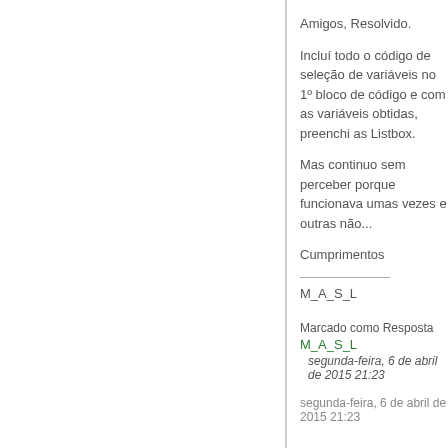Amigos, Resolvido.
Incluí todo o código de seleção de variáveis no 1º bloco de código e com as variáveis obtidas, preenchi as Listbox.
Mas continuo sem perceber porque funcionava umas vezes e outras não...
Cumprimentos
M_A_S_L
Marcado como Resposta
M_A_S_L
segunda-feira, 6 de abril de 2015 21:23
segunda-feira, 6 de abril de 2015 21:23